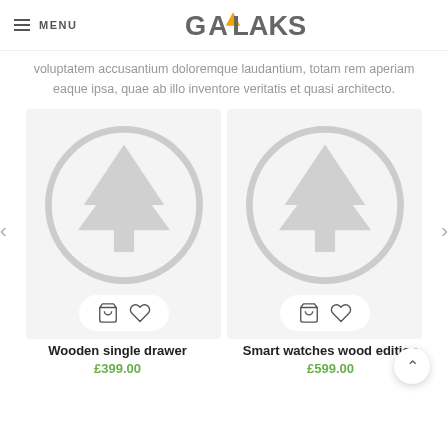MENU | GALAKSI
voluptatem accusantium doloremque laudantium, totam rem aperiam eaque ipsa, quae ab illo inventore veritatis et quasi architecto.
[Figure (screenshot): Product card: placeholder image (circle with tree icon) for 'Wooden single drawer' with cart and wishlist icons]
[Figure (screenshot): Product card: placeholder image (circle with tree icon) for 'Smart watches wood edition' with cart and wishlist icons]
Wooden single drawer
£399.00
Smart watches wood edition
£599.00